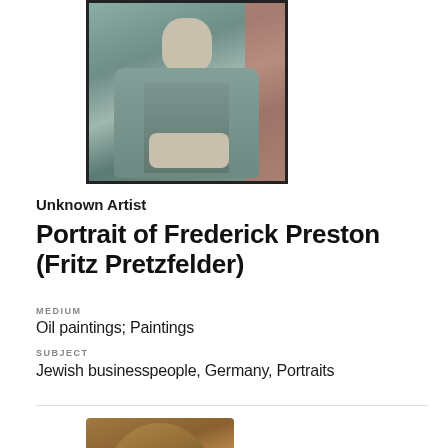[Figure (photo): Oil painting portrait of a man in a grey-green suit seated, shown from about waist up, against a reddish background]
Unknown Artist
Portrait of Frederick Preston (Fritz Pretzfelder)
MEDIUM
Oil paintings; Paintings
SUBJECT
Jewish businesspeople, Germany, Portraits
[Figure (photo): Bronze sculptural bust of a person with glasses, partial view showing face and top of shoulders]